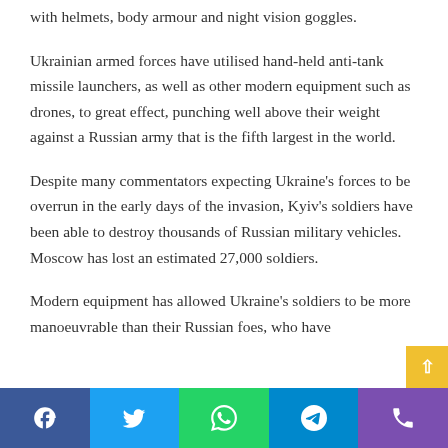with helmets, body armour and night vision goggles.
Ukrainian armed forces have utilised hand-held anti-tank missile launchers, as well as other modern equipment such as drones, to great effect, punching well above their weight against a Russian army that is the fifth largest in the world.
Despite many commentators expecting Ukraine’s forces to be overrun in the early days of the invasion, Kyiv’s soldiers have been able to destroy thousands of Russian military vehicles. Moscow has lost an estimated 27,000 soldiers.
Modern equipment has allowed Ukraine’s soldiers to be more manoeuvrable than their Russian foes, who have